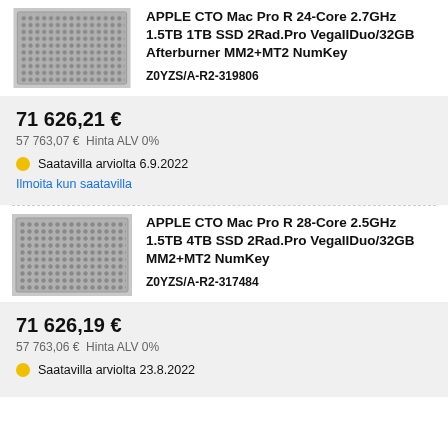[Figure (photo): Apple Mac Pro rack unit front panel with perforated steel grille pattern]
APPLE CTO Mac Pro R 24-Core 2.7GHz 1.5TB 1TB SSD 2Rad.Pro VegaIIDuo/32GB Afterburner MM2+MT2 NumKey
Z0YZS/A-R2-319806
71 626,21 €
57 763,07 €  Hinta ALV 0%
Saatavilla arviolta 6.9.2022
Ilmoita kun saatavilla
[Figure (photo): Apple Mac Pro rack unit front panel with perforated steel grille pattern]
APPLE CTO Mac Pro R 28-Core 2.5GHz 1.5TB 4TB SSD 2Rad.Pro VegaIIDuo/32GB MM2+MT2 NumKey
Z0YZS/A-R2-317484
71 626,19 €
57 763,06 €  Hinta ALV 0%
Saatavilla arviolta 23.8.2022